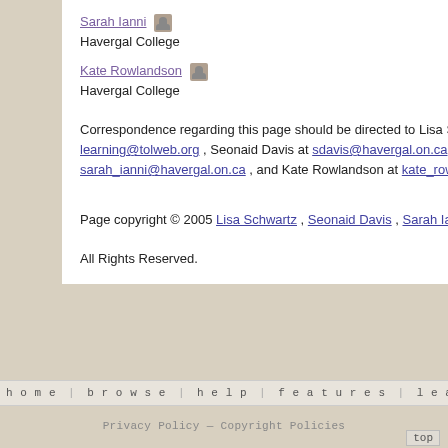Sarah Ianni — Havergal College
Kate Rowlandson — Havergal College
Correspondence regarding this page should be directed to Lisa Schwartz at learning@tolweb.org , Seonaid Davis at sdavis@havergal.on.ca , Sarah Ianni at sarah_ianni@havergal.on.ca , and Kate Rowlandson at kate_rowlandson@havergal.on.ca
Page copyright © 2005 Lisa Schwartz , Seonaid Davis , Sarah Ianni , and Kate Rowlandson
All Rights Reserved.
home  browse  help  features  learning  contribute  abo
Privacy Policy — Copyright Policies